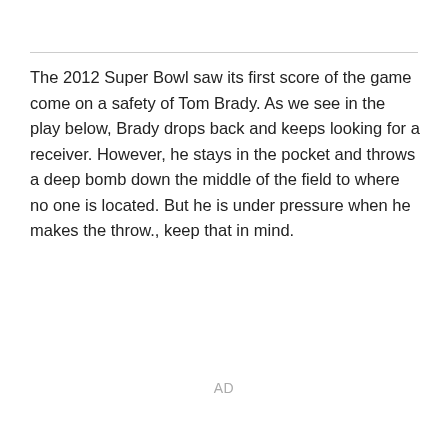The 2012 Super Bowl saw its first score of the game come on a safety of Tom Brady. As we see in the play below, Brady drops back and keeps looking for a receiver. However, he stays in the pocket and throws a deep bomb down the middle of the field to where no one is located. But he is under pressure when he makes the throw., keep that in mind.
AD